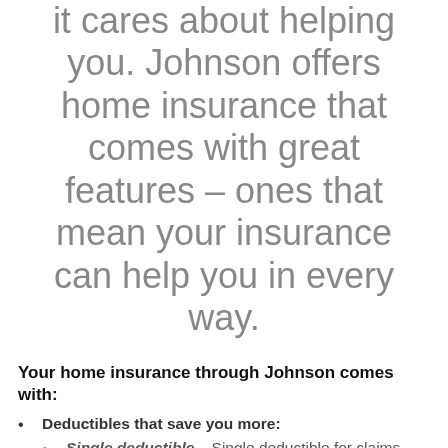it cares about helping you. Johnson offers home insurance that comes with great features – ones that mean your insurance can help you in every way.
Your home insurance through Johnson comes with:
Deductibles that save you more:
Single deductible – Single deductible for claims involving both home and auto.
Identity theft – You'll have up to $30,000 in coverage to sort out an identity theft. You can use it for financial support while you get your credit and banking sorted out (even replacing wages if you miss work) or to cover legal fees or expenses